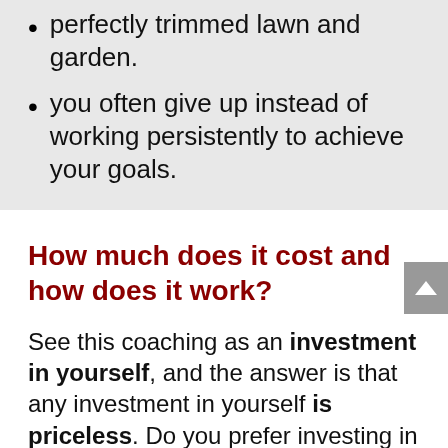perfectly trimmed lawn and garden.
you often give up instead of working persistently to achieve your goals.
How much does it cost and how does it work?
See this coaching as an investment in yourself, and the answer is that any investment in yourself is priceless. Do you prefer investing in the latest technology or clothing fashion which will